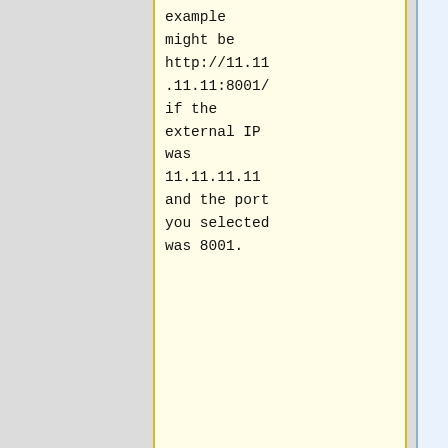example might be http://11.11.11.11:8001/ if the external IP was 11.11.11.11 and the port you selected was 8001.
Next, go to http://www.x10.com/support/netinfo/netinfoadvance.htm and run the test on that